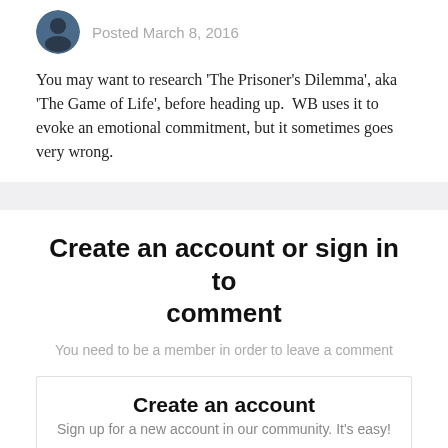Posted March 8, 2016
You may want to research 'The Prisoner's Dilemma', aka 'The Game of Life', before heading up.  WB uses it to evoke an emotional commitment, but it sometimes goes very wrong.
Create an account or sign in to comment
You need to be a member in order to leave a comment
Create an account
Sign up for a new account in our community. It's easy!
Register a new account
Sign in
Already have an account? Sign in here.